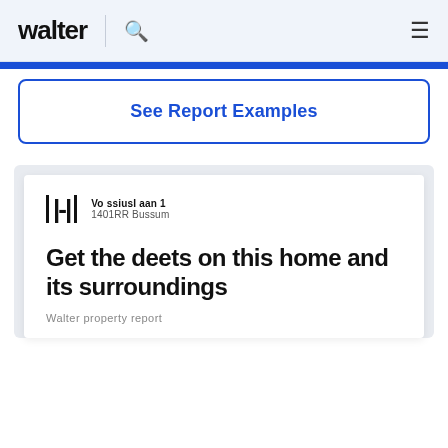walter | 🔍 ≡
See Report Examples
[Figure (screenshot): Walter property report preview card showing logo, address 'Vossluslaan 1, 1401RR Bussum', and title 'Get the deets on this home and its surroundings' with subtitle 'Walter property report']